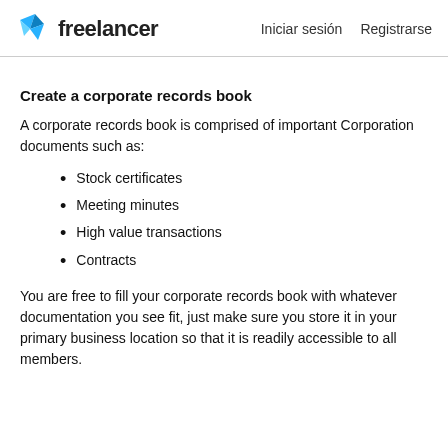freelancer   Iniciar sesión   Registrarse
Create a corporate records book
A corporate records book is comprised of important Corporation documents such as:
Stock certificates
Meeting minutes
High value transactions
Contracts
You are free to fill your corporate records book with whatever documentation you see fit, just make sure you store it in your primary business location so that it is readily accessible to all members.